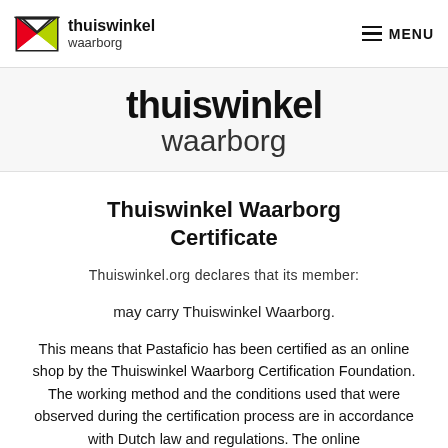thuiswinkel waarborg | MENU
[Figure (logo): Thuiswinkel Waarborg logo: envelope icon with red and green triangles, beside text 'thuiswinkel waarborg']
thuiswinkel waarborg (brand display)
Thuiswinkel Waarborg Certificate
Thuiswinkel.org declares that its member:
may carry Thuiswinkel Waarborg.
This means that Pastaficio has been certified as an online shop by the Thuiswinkel Waarborg Certification Foundation. The working method and the conditions used that were observed during the certification process are in accordance with Dutch law and regulations. The online